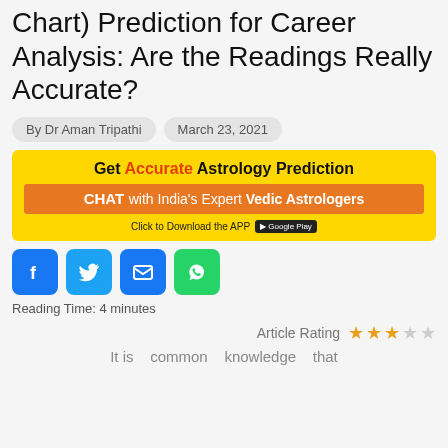Chart) Prediction for Career Analysis: Are the Readings Really Accurate?
By Dr Aman Tripathi   March 23, 2021
[Figure (infographic): Yellow advertisement banner: 'Get Accurate Astrology Prediction' with orange bar 'CHAT with India's Expert Vedic Astrologers' and 'Click to Download the APP' with Google Play badge]
[Figure (infographic): Social share icons: Facebook (blue), Twitter (light blue), Email (blue envelope), WhatsApp (green)]
Reading Time: 4 minutes
Article Rating ★★★☆☆
It is common knowledge that